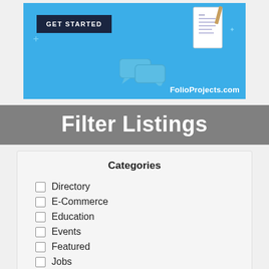[Figure (screenshot): Blue banner with 'GET STARTED' dark button, document icon with pencil, speech bubble icons, and 'FolioProjects.com' text in white]
Filter Listings
Categories
Directory
E-Commerce
Education
Events
Featured
Jobs
Miscellaneous